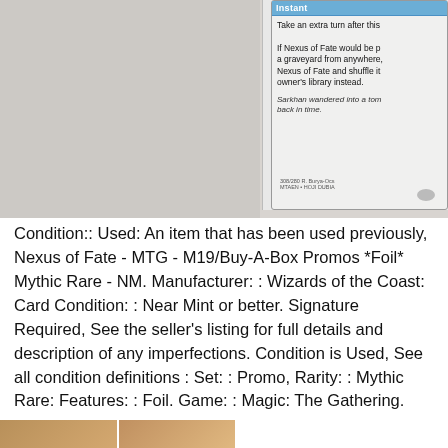[Figure (photo): Photo of a Magic: The Gathering card 'Nexus of Fate' partially visible, showing the card text on a gray background.]
Condition:: Used: An item that has been used previously, Nexus of Fate - MTG - M19/Buy-A-Box Promos *Foil* Mythic Rare - NM. Manufacturer: : Wizards of the Coast: Card Condition: : Near Mint or better. Signature Required, See the seller's listing for full details and description of any imperfections. Condition is Used, See all condition definitions : Set: : Promo, Rarity: : Mythic Rare: Features: : Foil. Game: : Magic: The Gathering.
[Figure (photo): Bottom strip showing partial images of Magic: The Gathering cards.]